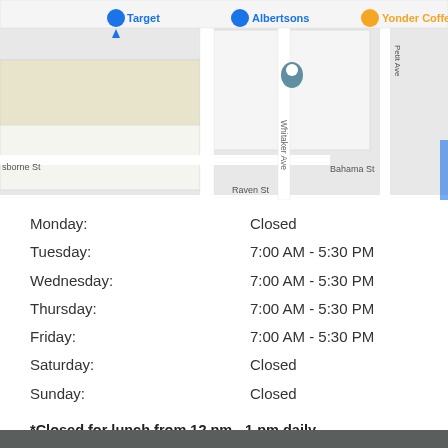[Figure (map): Google Maps screenshot showing location near Target, Albertsons, Yonder Coffee, with streets Whitaker Ave, Bahama St, Osborne St, Raven St, Petit Ave visible.]
| Day | Hours |
| --- | --- |
| Monday: | Closed |
| Tuesday: | 7:00 AM - 5:30 PM |
| Wednesday: | 7:00 AM - 5:30 PM |
| Thursday: | 7:00 AM - 5:30 PM |
| Friday: | 7:00 AM - 5:30 PM |
| Saturday: | Closed |
| Sunday: | Closed |
*Closed for lunch from 12 pm - 1 pm daily.